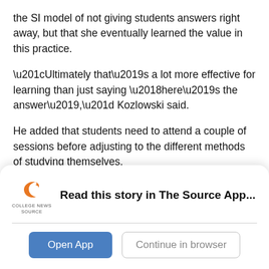the SI model of not giving students answers right away, but that she eventually learned the value in this practice.
“Ultimately that’s a lot more effective for learning than just saying ‘here’s the answer’,” Kozlowski said.
He added that students need to attend a couple of sessions before adjusting to the different methods of studying themselves.
Psychology senior and SI leader Kelly Finney admitted that she did not like SI methods at first.
[Figure (logo): College News Source logo with orange swirl icon and text 'COLLEGE NEWS SOURCE']
Read this story in The Source App...
Open App | Continue in browser